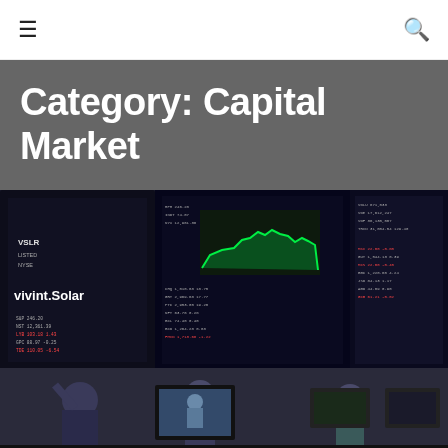☰ 🔍
Category: Capital Market
[Figure (photo): NYSE trading floor with stock tickers and traders. Multiple screens showing market data, a green line chart on a dark display, and the Vivint Solar listing sign. Traders are visible in the foreground.]